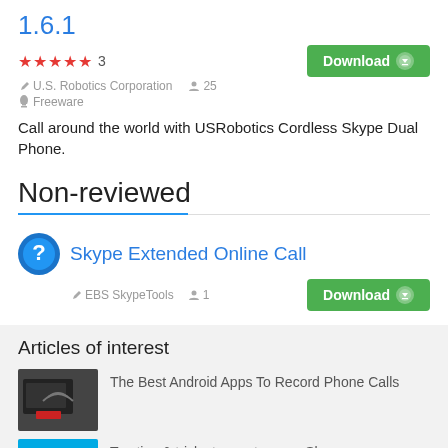1.6.1
★★★★★ 3
U.S. Robotics Corporation  25
Freeware
Call around the world with USRobotics Cordless Skype Dual Phone.
Non-reviewed
Skype Extended Online Call
EBS SkypeTools  1
Articles of interest
The Best Android Apps To Record Phone Calls
Top tips & tricks to master your Skype